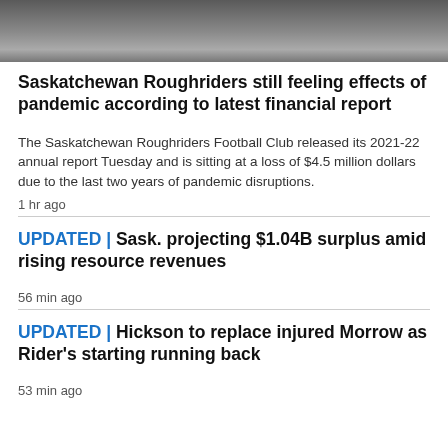[Figure (photo): Partial photo at top of page showing a person in a dimly lit environment with equipment visible]
Saskatchewan Roughriders still feeling effects of pandemic according to latest financial report
The Saskatchewan Roughriders Football Club released its 2021-22 annual report Tuesday and is sitting at a loss of $4.5 million dollars due to the last two years of pandemic disruptions.
1 hr ago
UPDATED | Sask. projecting $1.04B surplus amid rising resource revenues
56 min ago
UPDATED | Hickson to replace injured Morrow as Rider's starting running back
53 min ago